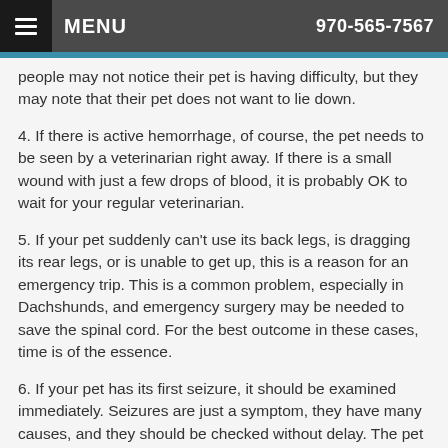MENU   970-565-7567
people may not notice their pet is having difficulty, but they may note that their pet does not want to lie down.
4. If there is active hemorrhage, of course, the pet needs to be seen by a veterinarian right away. If there is a small wound with just a few drops of blood, it is probably OK to wait for your regular veterinarian.
5. If your pet suddenly can't use its back legs, is dragging its rear legs, or is unable to get up, this is a reason for an emergency trip. This is a common problem, especially in Dachshunds, and emergency surgery may be needed to save the spinal cord. For the best outcome in these cases, time is of the essence.
6. If your pet has its first seizure, it should be examined immediately. Seizures are just a symptom, they have many causes, and they should be checked without delay. The pet should be monitored closely for the next several hours as another seizure may occur.